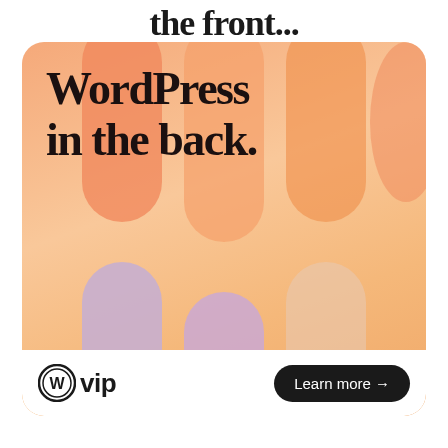the front...
[Figure (illustration): WordPress VIP advertisement card with orange/peach gradient background featuring decorative blob columns in orange and lavender/purple tones. Large bold text reads 'WordPress in the back.' Bottom bar has WordPress VIP logo on the left and a 'Learn more →' button on the right.]
WordPress in the back.
WP vip
Learn more →